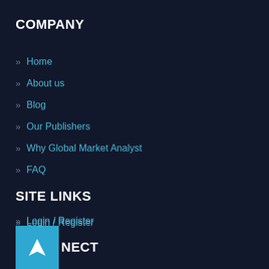COMPANY
» Home
» About us
» Blog
» Our Publishers
» Why Global Market Analyst
» FAQ
SITE LINKS
» Login / Register
» News
» RSS
» Terms and Conditions
» Contact Us
CONNECT